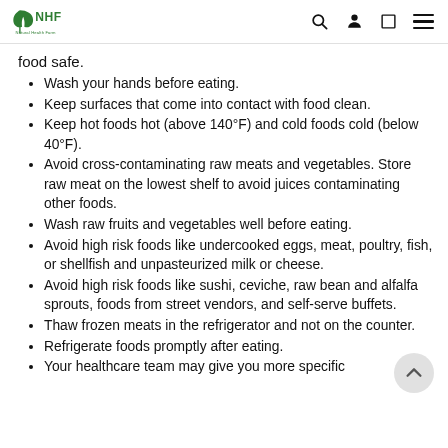NHF - Natural Health Farm logo with search, user, and menu icons
food safe.
Wash your hands before eating.
Keep surfaces that come into contact with food clean.
Keep hot foods hot (above 140°F) and cold foods cold (below 40°F).
Avoid cross-contaminating raw meats and vegetables. Store raw meat on the lowest shelf to avoid juices contaminating other foods.
Wash raw fruits and vegetables well before eating.
Avoid high risk foods like undercooked eggs, meat, poultry, fish, or shellfish and unpasteurized milk or cheese.
Avoid high risk foods like sushi, ceviche, raw bean and alfalfa sprouts, foods from street vendors, and self-serve buffets.
Thaw frozen meats in the refrigerator and not on the counter.
Refrigerate foods promptly after eating.
Your healthcare team may give you more specific